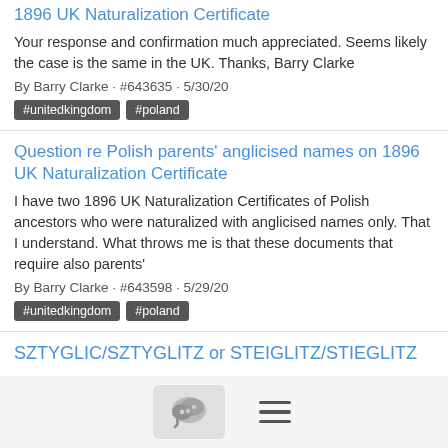1896 UK Naturalization Certificate
Your response and confirmation much appreciated. Seems likely the case is the same in the UK. Thanks, Barry Clarke
By Barry Clarke · #643635 · 5/30/20
#unitedkingdom  #poland
Question re Polish parents' anglicised names on 1896 UK Naturalization Certificate
I have two 1896 UK Naturalization Certificates of Polish ancestors who were naturalized with anglicised names only. That I understand. What throws me is that these documents that require also parents'
By Barry Clarke · #643598 · 5/29/20
#unitedkingdom  #poland
SZTYGLIC/SZTYGLITZ or STEIGLITZ/STIEGLITZ
Simply put, does anyone know if STEIGLITZ/STIEGLITZ, while sounding more like a German name from Galicia, was also a name that could have come from Russian Poland? Or would it